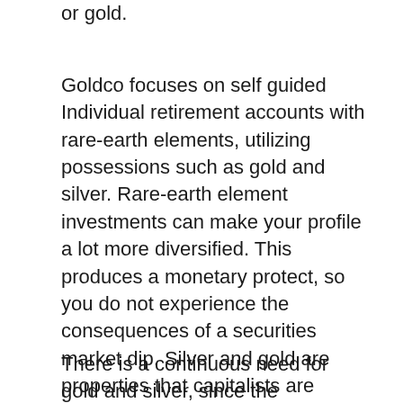or gold.
Goldco focuses on self guided Individual retirement accounts with rare-earth elements, utilizing possessions such as gold and silver. Rare-earth element investments can make your profile a lot more diversified. This produces a monetary protect, so you do not experience the consequences of a securities market dip. Silver and gold are properties that capitalists are drawn to, as a result of their stable value traditionally. The worth of precious steels has a tendency to boost, when the supply market or economic situation drops.
There is a continuous need for gold and silver, since the requirements of